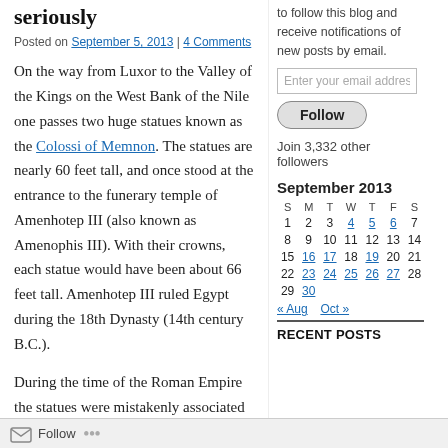seriously
Posted on September 5, 2013 | 4 Comments
On the way from Luxor to the Valley of the Kings on the West Bank of the Nile one passes two huge statues known as the Colossi of Memnon. The statues are nearly 60 feet tall, and once stood at the entrance to the funerary temple of Amenhotep III (also known as Amenophis III). With their crowns, each statue would have been about 66 feet tall. Amenhotep III ruled Egypt during the 18th Dynasty (14th century B.C.).
During the time of the Roman Empire the statues were mistakenly associated with "Memnon, son of Eos and Tithonus, who was killed by Achilles during the Trojan War" (Baedeker's Egypt).
to follow this blog and receive notifications of new posts by email.
Enter your email address
Follow
Join 3,332 other followers
| S | M | T | W | T | F | S |
| --- | --- | --- | --- | --- | --- | --- |
| 1 | 2 | 3 | 4 | 5 | 6 | 7 |
| 8 | 9 | 10 | 11 | 12 | 13 | 14 |
| 15 | 16 | 17 | 18 | 19 | 20 | 21 |
| 22 | 23 | 24 | 25 | 26 | 27 | 28 |
| 29 | 30 |  |  |  |  |  |
« Aug   Oct »
RECENT POSTS
Follow